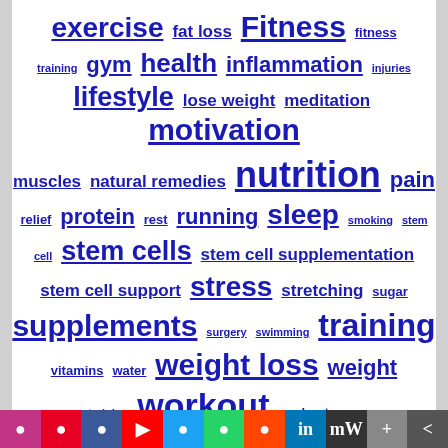[Figure (infographic): Tag cloud of health and fitness keywords in varying font sizes, all styled as bold blue underlined links on a white background. Keywords include: exercise, fat loss, Fitness, fitness, training, gym, health, inflammation, injuries, lifestyle, lose weight, meditation, motivation, muscles, natural remedies, nutrition, pain, relief, protein, rest, running, sleep, smoking, stem cell, stem cells, stem cell supplementation, stem cell support, stress, stretching, sugar, supplements, surgery, swimming, training, vitamins, water, weight loss, weight training, workout, workout gear, workouts, yoga.]
Instagram Pinterest Facebook YouTube Twitter WhatsApp Reddit LinkedIn MeWe Mix Share